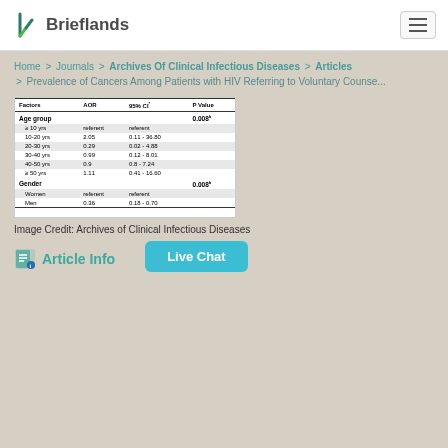Brieflands
Home > Journals > Archives Of Clinical Infectious Diseases > Articles > Prevalence of Cancers Among Patients with HIV Referring to Voluntary Counse...
| Factors | AOR | 95% CI* | P Value |
| --- | --- | --- | --- |
| Age group |  |  | 0.008b |
| ≥ 10 yrs | referent | referent |  |
| 10-20 yrs | 2.05 | 0.11 - 36.80 |  |
| 20-30 yrs | 0.29 | 0.02 - 4.88 |  |
| 30-40 yrs | 0.99 | 0.12 - 8.01 |  |
| 40-50 yrs | 0.9 | 0.8 - 7.24 |  |
| ≥ 50 yrs | 1.11 | 0.41 - 16.60 |  |
| Gender |  |  | 0.008b |
| Women | referent | referent |  |
| Men | 0.36 | 0.18 - 0.70 |  |
Image Credit: Archives of Clinical Infectious Diseases
Article Info